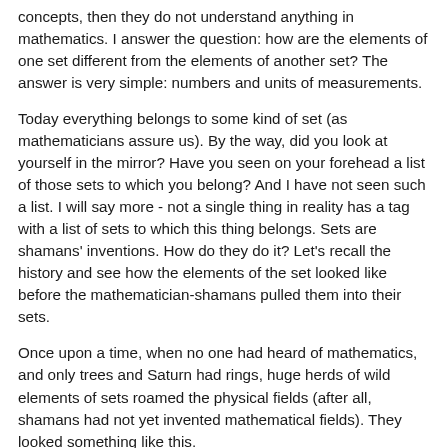concepts, then they do not understand anything in mathematics. I answer the question: how are the elements of one set different from the elements of another set? The answer is very simple: numbers and units of measurements.
Today everything belongs to some kind of set (as mathematicians assure us). By the way, did you look at yourself in the mirror? Have you seen on your forehead a list of those sets to which you belong? And I have not seen such a list. I will say more - not a single thing in reality has a tag with a list of sets to which this thing belongs. Sets are shamans' inventions. How do they do it? Let's recall the history and see how the elements of the set looked like before the mathematician-shamans pulled them into their sets.
Once upon a time, when no one had heard of mathematics, and only trees and Saturn had rings, huge herds of wild elements of sets roamed the physical fields (after all, shamans had not yet invented mathematical fields). They looked something like this.